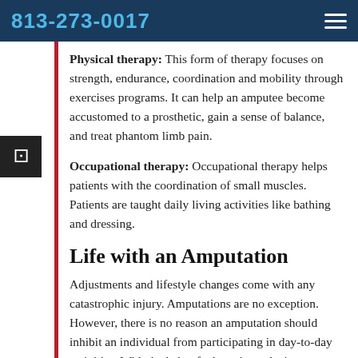813-273-0017
Physical therapy: This form of therapy focuses on strength, endurance, coordination and mobility through exercises programs. It can help an amputee become accustomed to a prosthetic, gain a sense of balance, and treat phantom limb pain.
Occupational therapy: Occupational therapy helps patients with the coordination of small muscles. Patients are taught daily living activities like bathing and dressing.
Life with an Amputation
Adjustments and lifestyle changes come with any catastrophic injury. Amputations are no exception. However, there is no reason an amputation should inhibit an individual from participating in day-to-day activities. With the help of adaptations, devices...